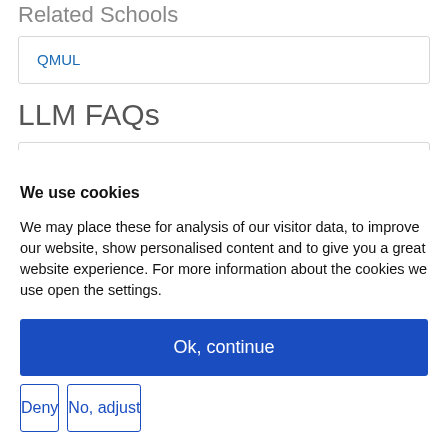Related Schools
QMUL
LLM FAQs
What is an LL.M.?
Funding Your LL.M.
We use cookies
We may place these for analysis of our visitor data, to improve our website, show personalised content and to give you a great website experience. For more information about the cookies we use open the settings.
Ok, continue
Deny
No, adjust